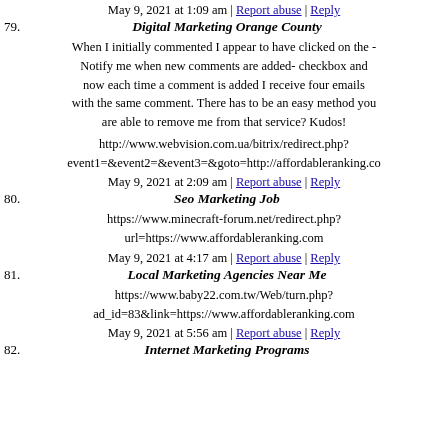May 9, 2021 at 1:09 am | Report abuse | Reply
79. Digital Marketing Orange County
When I initially commented I appear to have clicked on the - Notify me when new comments are added- checkbox and now each time a comment is added I receive four emails with the same comment. There has to be an easy method you are able to remove me from that service? Kudos!
http://www.webvision.com.ua/bitrix/redirect.php?event1=&event2=&event3=&goto=http://affordableranking.co
May 9, 2021 at 2:09 am | Report abuse | Reply
80. Seo Marketing Job
https://www.minecraft-forum.net/redirect.php?url=https://www.affordableranking.com
May 9, 2021 at 4:17 am | Report abuse | Reply
81. Local Marketing Agencies Near Me
https://www.baby22.com.tw/Web/turn.php?ad_id=83&link=https://www.affordableranking.com
May 9, 2021 at 5:56 am | Report abuse | Reply
82. Internet Marketing Programs